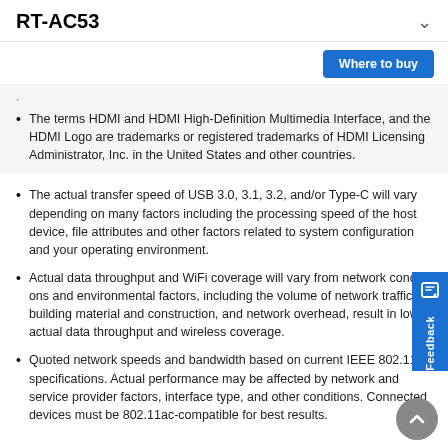RT-AC53
Where to buy
The terms HDMI and HDMI High-Definition Multimedia Interface, and the HDMI Logo are trademarks or registered trademarks of HDMI Licensing Administrator, Inc. in the United States and other countries.
The actual transfer speed of USB 3.0, 3.1, 3.2, and/or Type-C will vary depending on many factors including the processing speed of the host device, file attributes and other factors related to system configuration and your operating environment.
Actual data throughput and WiFi coverage will vary from network conditions and environmental factors, including the volume of network traffic, building material and construction, and network overhead, result in lower actual data throughput and wireless coverage.
Quoted network speeds and bandwidth based on current IEEE 802.11ac specifications. Actual performance may be affected by network and service provider factors, interface type, and other conditions. Connected devices must be 802.11ac-compatible for best results.